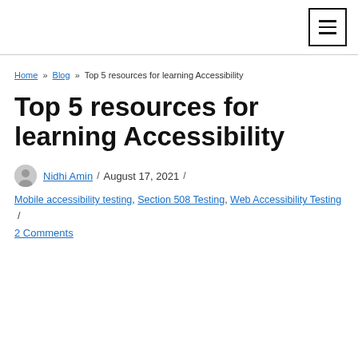[navigation bar with hamburger menu]
Home » Blog » Top 5 resources for learning Accessibility
Top 5 resources for learning Accessibility
Nidhi Amin / August 17, 2021 / Mobile accessibility testing, Section 508 Testing, Web Accessibility Testing / 2 Comments